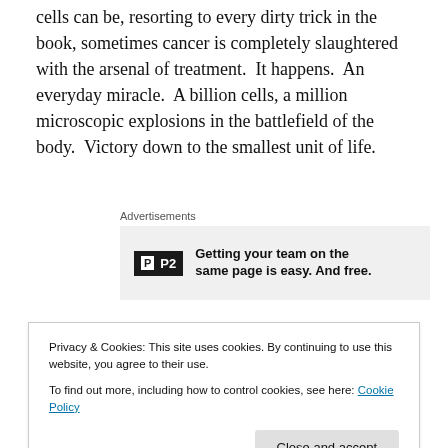cells can be, resorting to every dirty trick in the book, sometimes cancer is completely slaughtered with the arsenal of treatment.  It happens.  An everyday miracle.  A billion cells, a million microscopic explosions in the battlefield of the body.  Victory down to the smallest unit of life.
[Figure (other): Advertisement block: P2 logo with text 'Getting your team on the same page is easy. And free.']
Even when the war cannot be won, the enemy is usually held at bay for a while.  Mom's cancer was very drug
Privacy & Cookies: This site uses cookies. By continuing to use this website, you agree to their use.
To find out more, including how to control cookies, see here: Cookie Policy
Close and accept